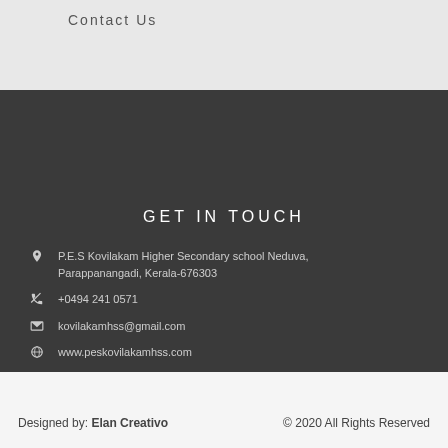Contact Us
GET IN TOUCH
P.E.S Kovilakam Higher Secondary school Neduva, Parappanangadi, Kerala-676303
+0494 241 0571
kovilakamhss@gmail.com
www.peskovilakamhss.com
Designed by: Elan Creativo   © 2020 All Rights Reserved